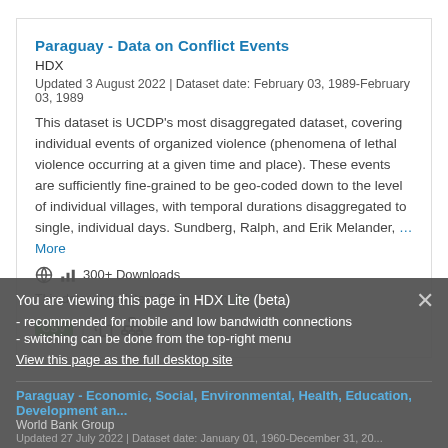Paraguay - Data on Conflict Events
HDX
Updated 3 August 2022 | Dataset date: February 03, 1989-February 03, 1989
This dataset is UCDP's most disaggregated dataset, covering individual events of organized violence (phenomena of lethal violence occurring at a given time and place). These events are sufficiently fine-grained to be geo-coded down to the level of individual villages, with temporal durations disaggregated to single, individual days. Sundberg, Ralph, and Erik Melander, … More
300+ Downloads
This dataset updates: Every month
CSV
You are viewing this page in HDX Lite (beta)
- recommended for mobile and low bandwidth connections
- switching can be done from the top-right menu
View this page as the full desktop site
Paraguay - Economic, Social, Environmental, Health, Education, Development an...
World Bank Group